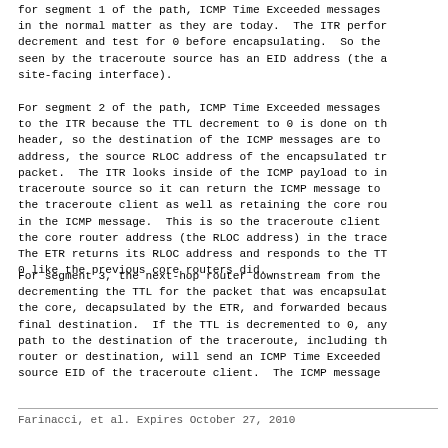for segment 1 of the path, ICMP Time Exceeded messages in the normal matter as they are today.  The ITR perfor decrement and test for 0 before encapsulating.  So the seen by the traceroute source has an EID address (the a site-facing interface).
For segment 2 of the path, ICMP Time Exceeded messages to the ITR because the TTL decrement to 0 is done on th header, so the destination of the ICMP messages are to address, the source RLOC address of the encapsulated tr packet.  The ITR looks inside of the ICMP payload to in traceroute source so it can return the ICMP message to the traceroute client as well as retaining the core rou in the ICMP message.  This is so the traceroute client the core router address (the RLOC address) in the trace The ETR returns its RLOC address and responds to the TT 0 like the previous core routers did.
For segment 3, the next-hop router downstream from the decrementing the TTL for the packet that was encapsulat the core, decapsulated by the ETR, and forwarded becaus final destination.  If the TTL is decremented to 0, any path to the destination of the traceroute, including th router or destination, will send an ICMP Time Exceeded source EID of the traceroute client.  The ICMP message
Farinacci, et al.      Expires October 27, 2010